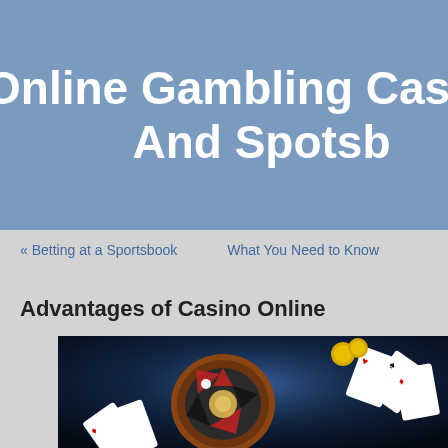Online Gambling Casino And Spotsbook
« Betting at a Sportsbook   What You Need to Know
Advantages of Casino Online
[Figure (photo): Casino image showing a roulette wheel and playing cards on a dark blue background with golden coins]